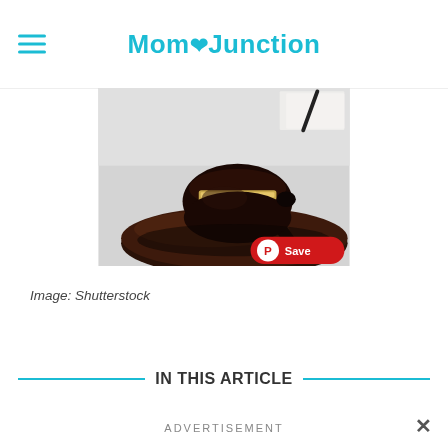MomJunction
[Figure (photo): A judge's gavel resting on its sound block on a light grey surface, with papers and a pen blurred in the background. A red Pinterest Save button is overlaid in the lower right corner of the image.]
Image: Shutterstock
IN THIS ARTICLE
ADVERTISEMENT